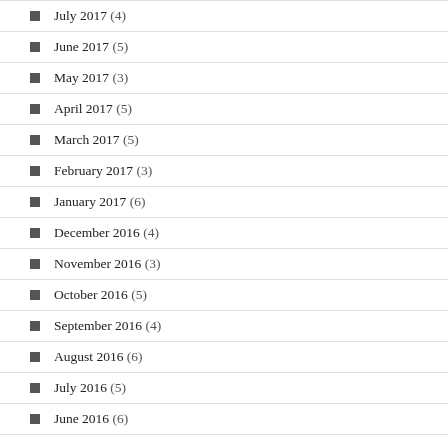July 2017 (4)
June 2017 (5)
May 2017 (3)
April 2017 (5)
March 2017 (5)
February 2017 (3)
January 2017 (6)
December 2016 (4)
November 2016 (3)
October 2016 (5)
September 2016 (4)
August 2016 (6)
July 2016 (5)
June 2016 (6)